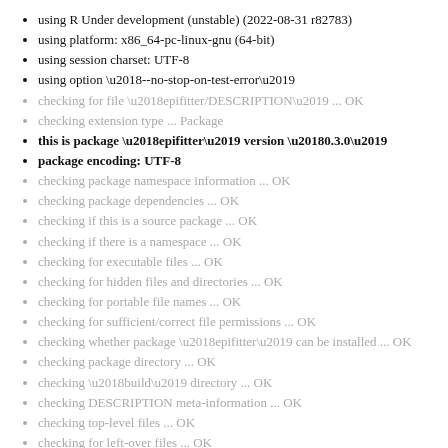using R Under development (unstable) (2022-08-31 r82783)
using platform: x86_64-pc-linux-gnu (64-bit)
using session charset: UTF-8
using option ‘--no-stop-on-test-error’
checking for file ‘epifitter/DESCRIPTION’ ... OK
checking extension type ... Package
this is package ‘epifitter’ version ‘0.3.0’
package encoding: UTF-8
checking package namespace information ... OK
checking package dependencies ... OK
checking if this is a source package ... OK
checking if there is a namespace ... OK
checking for executable files ... OK
checking for hidden files and directories ... OK
checking for portable file names ... OK
checking for sufficient/correct file permissions ... OK
checking whether package ‘epifitter’ can be installed ... OK
checking package directory ... OK
checking ‘build’ directory ... OK
checking DESCRIPTION meta-information ... OK
checking top-level files ... OK
checking for left-over files ... OK
checking index information ... OK
checking package subdirectories ... OK